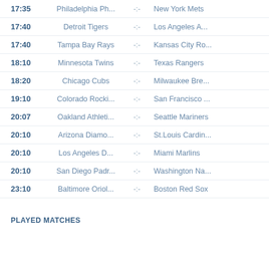17:35 Philadelphia Ph... -:- New York Mets
17:40 Detroit Tigers -:- Los Angeles A...
17:40 Tampa Bay Rays -:- Kansas City Ro...
18:10 Minnesota Twins -:- Texas Rangers
18:20 Chicago Cubs -:- Milwaukee Bre...
19:10 Colorado Rocki... -:- San Francisco ...
20:07 Oakland Athleti... -:- Seattle Mariners
20:10 Arizona Diamo... -:- St.Louis Cardin...
20:10 Los Angeles D... -:- Miami Marlins
20:10 San Diego Padr... -:- Washington Na...
23:10 Baltimore Oriol... -:- Boston Red Sox
PLAYED MATCHES